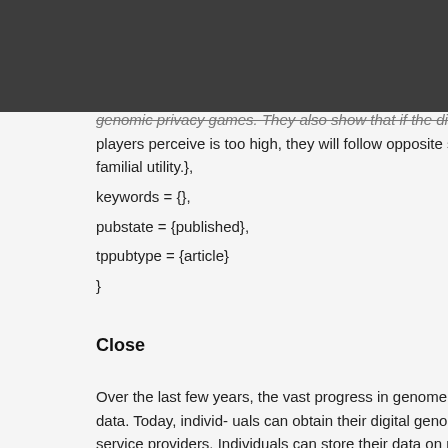genomic privacy games. They also show that if the discrepancy players perceive is too high, they will follow opposite sharing strategies to maximize familial utility.},
keywords = {},
pubstate = {published},
tppubtype = {article}
}
Close
Over the last few years, the vast progress in genome sequenc- ing data. Today, individ- uals can obtain their digital genomic sequence from service providers. Individuals can store their data on per- sonal de- vices or share it with third parties. Yet, it has been shown that genomic data is shared between relatives. Therefore, individuals' decisions about how to manage it are crucial. People of the same family might have very different opinio